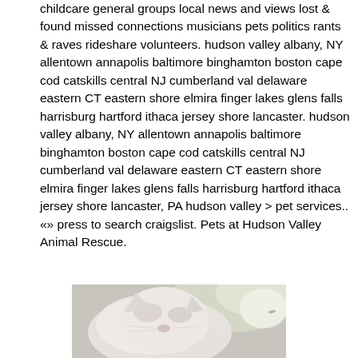childcare general groups local news and views lost & found missed connections musicians pets politics rants & raves rideshare volunteers. hudson valley albany, NY allentown annapolis baltimore binghamton boston cape cod catskills central NJ cumberland val delaware eastern CT eastern shore elmira finger lakes glens falls harrisburg hartford ithaca jersey shore lancaster. hudson valley albany, NY allentown annapolis baltimore binghamton boston cape cod catskills central NJ cumberland val delaware eastern CT eastern shore elmira finger lakes glens falls harrisburg hartford ithaca jersey shore lancaster, PA hudson valley > pet services.. «» press to search craigslist. Pets at Hudson Valley Animal Rescue.
[Figure (photo): A close-up photo of a white/light-colored cat or animal, partially visible at bottom of page]